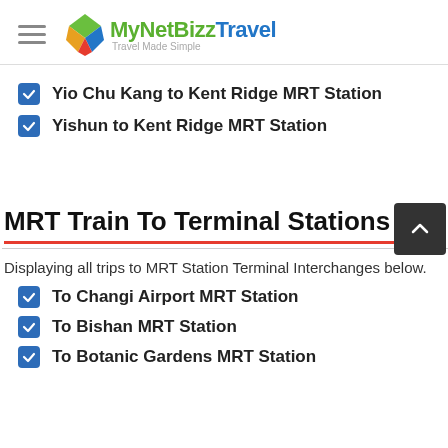MyNetBizz Travel — Travel Made Simple
Yio Chu Kang to Kent Ridge MRT Station
Yishun to Kent Ridge MRT Station
MRT Train To Terminal Stations / Interchanges
Displaying all trips to MRT Station Terminal Interchanges below.
To Changi Airport MRT Station
To Bishan MRT Station
To Botanic Gardens MRT Station